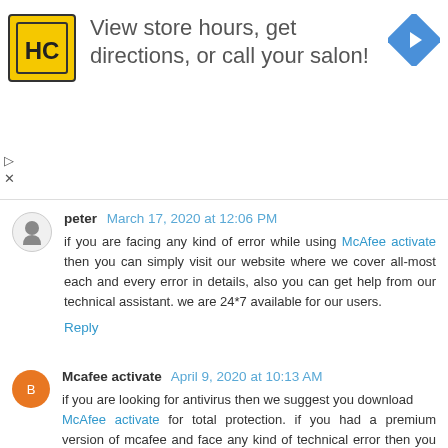[Figure (infographic): Advertisement banner with HC logo (yellow background, black stylized HC letters), text 'View store hours, get directions, or call your salon!', and a blue navigation arrow icon on the right. Small play and close controls at bottom-left.]
peter March 17, 2020 at 12:06 PM
if you are facing any kind of error while using McAfee activate then you can simply visit our website where we cover all-most each and every error in details, also you can get help from our technical assistant. we are 24*7 available for our users.
Reply
Mcafee activate April 9, 2020 at 10:13 AM
if you are looking for antivirus then we suggest you download
McAfee activate for total protection. if you had a premium version of mcafee and face any kind of technical error then you can visit our website mcafee.com/activate
Reply